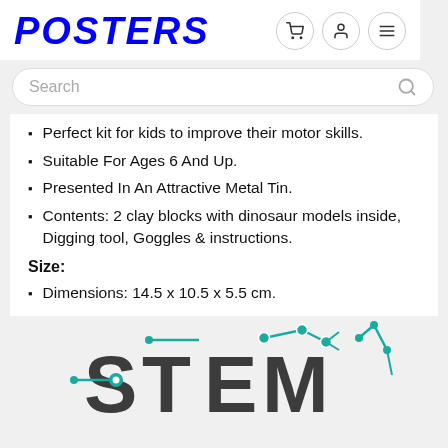POSTERS
Perfect kit for kids to improve their motor skills.
Suitable For Ages 6 And Up.
Presented In An Attractive Metal Tin.
Contents: 2 clay blocks with dinosaur models inside, Digging tool, Goggles & instructions.
Size:
Dimensions: 14.5 x 10.5 x 5.5 cm.
[Figure (logo): STEM logo with teal robotic arm and circuit-style lettering]